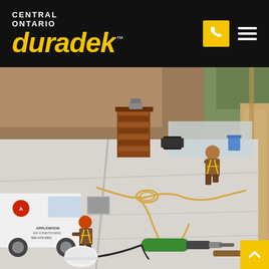[Figure (logo): Central Ontario Duradek logo on black header bar with phone icon button and hamburger menu icon]
[Figure (photo): Aerial view of a rooftop membrane installation job site with two workers in safety harnesses applying vinyl membrane. An Applewood Air Conditioning van is visible in the lower left. Tools including a green heat welder gun, a white hard hat, and a mallet are visible on the light grey membrane surface. A brick chimney and construction site background are visible.]